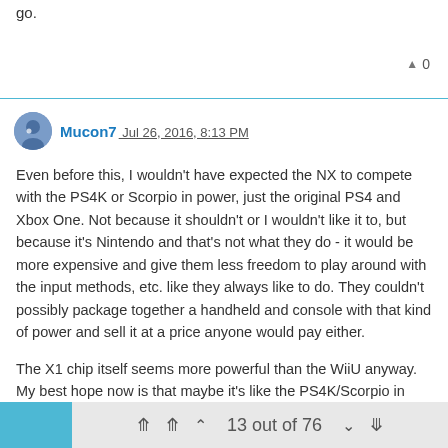go.
▲ 0
Mucon7 Jul 26, 2016, 8:13 PM
Even before this, I wouldn't have expected the NX to compete with the PS4K or Scorpio in power, just the original PS4 and Xbox One. Not because it shouldn't or I wouldn't like it to, but because it's Nintendo and that's not what they do - it would be more expensive and give them less freedom to play around with the input methods, etc. like they always like to do. They couldn't possibly package together a handheld and console with that kind of power and sell it at a price anyone would pay either.
The X1 chip itself seems more powerful than the WiiU anyway. My best hope now is that maybe it's like the PS4K/Scorpio in reverse with the handheld having WiiU (or maybe slightly better) performance and then the dock adds more power to bring it to at least PS4/Xbox One levels.
With the handheld having a smaller (but hopefully upgradeable)
13 out of 76